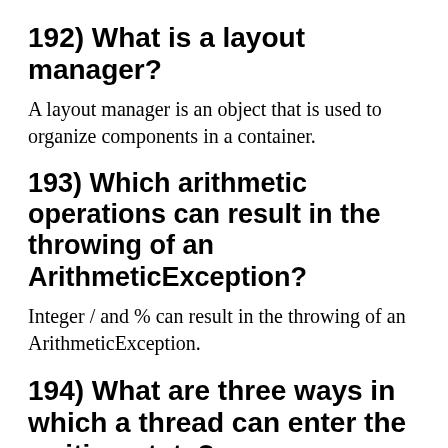192) What is a layout manager?
A layout manager is an object that is used to organize components in a container.
193) Which arithmetic operations can result in the throwing of an ArithmeticException?
Integer / and % can result in the throwing of an ArithmeticException.
194) What are three ways in which a thread can enter the waiting state?